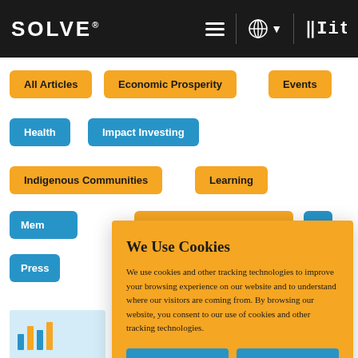SOLVE® MIT
All Articles
Economic Prosperity
Events
Health
Impact Investing
Indigenous Communities
Learning
Mem[bers]
Partner Challenges
[Solv]ers
Press
We Use Cookies
We use cookies and other tracking technologies to improve your browsing experience on our website and to understand where our visitors are coming from. By browsing our website, you consent to our use of cookies and other tracking technologies.
ACCEPT
REJECT